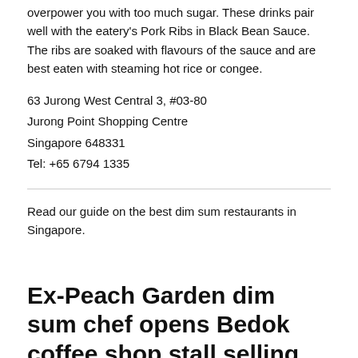overpower you with too much sugar. These drinks pair well with the eatery's Pork Ribs in Black Bean Sauce. The ribs are soaked with flavours of the sauce and are best eaten with steaming hot rice or congee.
63 Jurong West Central 3, #03-80
Jurong Point Shopping Centre
Singapore 648331
Tel: +65 6794 1335
Read our guide on the best dim sum restaurants in Singapore.
Ex-Peach Garden dim sum chef opens Bedok coffee shop stall selling cheong fun from S$3 – Mothership.SG